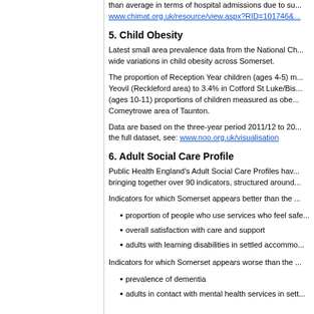than average in terms of hospital admissions due to su... www.chimat.org.uk/resource/view.aspx?RID=101746&...
5. Child Obesity
Latest small area prevalence data from the National Ch... wide variations in child obesity across Somerset.
The proportion of Reception Year children (ages 4-5) m... Yeovil (Reckleford area) to 3.4% in Cotford St Luke/Bis... (ages 10-11) proportions of children measured as obe... Comeytrowe area of Taunton.
Data are based on the three-year period 2011/12 to 20... the full dataset, see: www.noo.org.uk/visualisation
6. Adult Social Care Profile
Public Health England's Adult Social Care Profiles hav... bringing together over 90 indicators, structured around...
Indicators for which Somerset appears better than the ...
proportion of people who use services who feel safe...
overall satisfaction with care and support
adults with learning disabilities in settled accommo...
Indicators for which Somerset appears worse than the ...
prevalence of dementia
adults in contact with mental health services in sett...